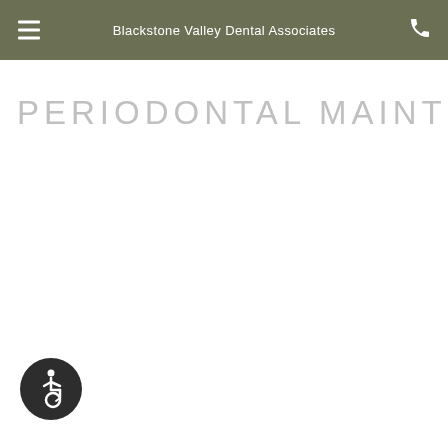Blackstone Valley Dental Associates
PERIODONTAL MAINTENANCE
[Figure (illustration): Accessibility wheelchair icon button in dark circle at bottom left]